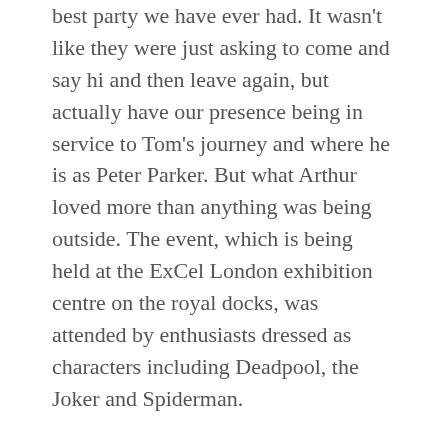best party we have ever had. It wasn't like they were just asking to come and say hi and then leave again, but actually have our presence being in service to Tom's journey and where he is as Peter Parker. But what Arthur loved more than anything was being outside. The event, which is being held at the ExCel London exhibition centre on the royal docks, was attended by enthusiasts dressed as characters including Deadpool, the Joker and Spiderman.
Thousands of superhero fans descended on London to enjoy the third day of the bi-annual Comic Con festival. Comic Con spokesman Gary Burns believes the three-day event would 'eclipse' the world-famous United States Comic Cons if it ran longer, but that could detract from the magic of the UK convention. Tens of thousands of comic book fans, dressed immaculately as their favourite characters, descended on London for the first day of MCM